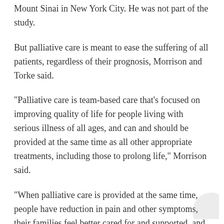Mount Sinai in New York City. He was not part of the study.
But palliative care is meant to ease the suffering of all patients, regardless of their prognosis, Morrison and Torke said.
"Palliative care is team-based care that's focused on improving quality of life for people living with serious illness of all ages, and can and should be provided at the same time as all other appropriate treatments, including those to prolong life," Morrison said.
"When palliative care is provided at the same time, people have reduction in pain and other symptoms, their families feel better cared for and supported, and in cancer, for example, they live longer," he added.
To see how often palliative care is being used to help